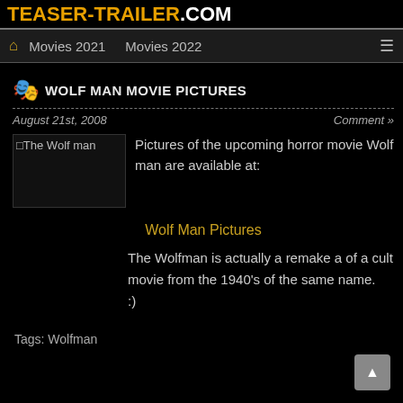TEASER-TRAILER.COM
Movies 2021   Movies 2022
WOLF MAN MOVIE PICTURES
August 21st, 2008
Comment »
[Figure (photo): The Wolf man movie image placeholder]
Pictures of the upcoming horror movie Wolf man are available at:
Wolf Man Pictures
The Wolfman is actually a remake a of a cult movie from the 1940's of the same name.
:)
Tags: Wolfman